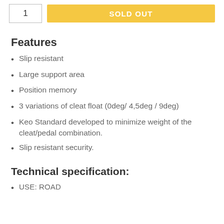[Figure (other): Quantity selector box showing '1' and a gold 'SOLD OUT' button]
Features
Slip resistant
Large support area
Position memory
3 variations of cleat float (0deg/ 4,5deg / 9deg)
Keo Standard developed to minimize weight of the cleat/pedal combination.
Slip resistant security.
Technical specification:
USE: ROAD